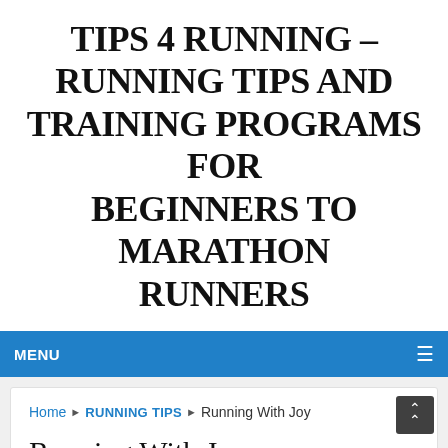TIPS 4 RUNNING – RUNNING TIPS AND TRAINING PROGRAMS FOR BEGINNERS TO MARATHON RUNNERS
MENU
Home ▶ RUNNING TIPS ▶ Running With Joy
Running With Joy
TIPS4RUNNING   December 27, 2021   RUNNING TIPS   No Comments